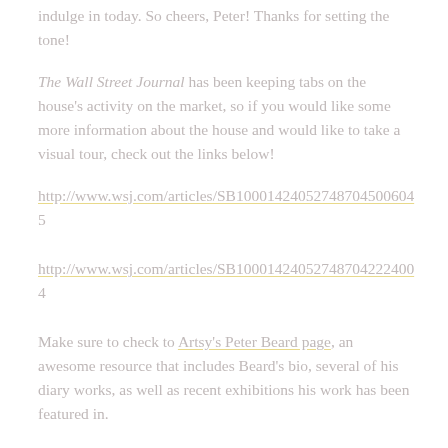indulge in today. So cheers, Peter! Thanks for setting the tone!
The Wall Street Journal has been keeping tabs on the house's activity on the market, so if you would like some more information about the house and would like to take a visual tour, check out the links below!
http://www.wsj.com/articles/SB10001424052748704500604…
http://www.wsj.com/articles/SB10001424052748704222400…
Make sure to check to Artsy's Peter Beard page, an awesome resource that includes Beard's bio, several of his diary works, as well as recent exhibitions his work has been featured in.